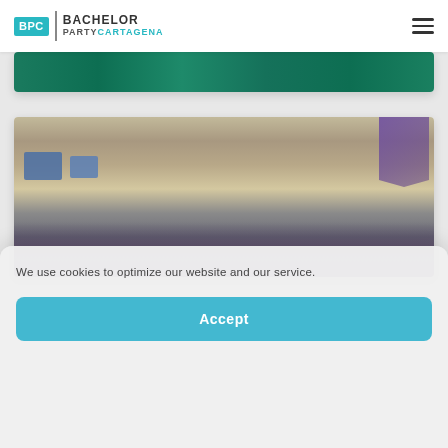[Figure (logo): BPC Bachelor Party Cartagena logo with teal BPC box and text]
[Figure (photo): Partial casino table image showing green felt gambling table]
[Figure (photo): Outdoor rooftop party/event venue with large screens, crowd, and purple flag]
We use cookies to optimize our website and our service.
Accept